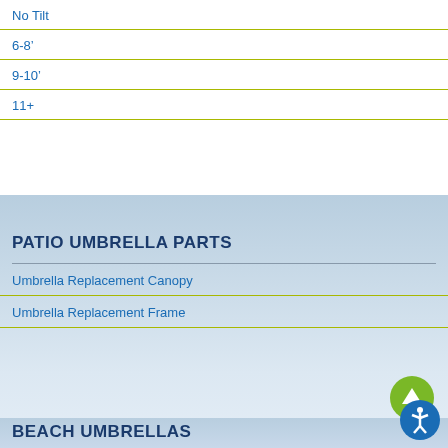No Tilt
6-8’
9-10’
11+
PATIO UMBRELLA PARTS
Umbrella Replacement Canopy
Umbrella Replacement Frame
BEACH UMBRELLAS